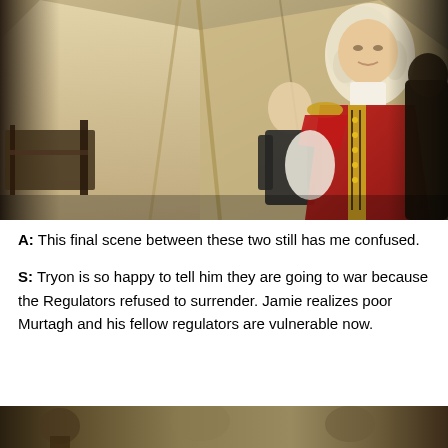[Figure (photo): Scene from a period TV show inside a tent. A man in a red British military uniform with gold trim and white powdered wig stands in the foreground, and another man in dark period clothing stands in the background.]
A: This final scene between these two still has me confused.
S: Tryon is so happy to tell him they are going to war because the Regulators refused to surrender. Jamie realizes poor Murtagh and his fellow regulators are vulnerable now.
[Figure (photo): Partial view of another scene, cropped at the bottom of the page.]